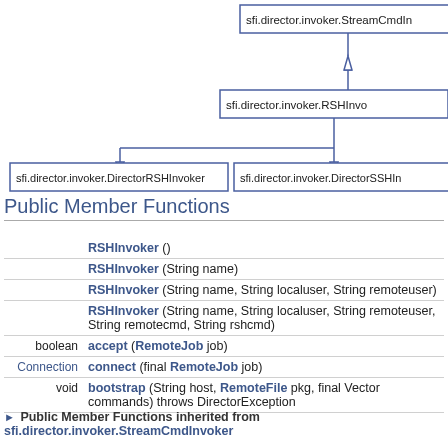[Figure (engineering-diagram): UML class inheritance diagram showing sfi.director.invoker.StreamCmdInvoker at top, sfi.director.invoker.RSHInvoker in the middle inheriting from it, and two subclasses at the bottom: sfi.director.invoker.DirectorRSHInvoker and sfi.director.invoker.DirectorSSHInvoker inheriting from RSHInvoker.]
Public Member Functions
| Return type | Function signature |
| --- | --- |
|  | RSHInvoker () |
|  | RSHInvoker (String name) |
|  | RSHInvoker (String name, String localuser, String remoteuser) |
|  | RSHInvoker (String name, String localuser, String remoteuser, String remotecmd, String rshcmd) |
| boolean | accept (RemoteJob job) |
| Connection | connect (final RemoteJob job) |
| void | bootstrap (String host, RemoteFile pkg, final Vector commands) throws DirectorException |
▶ Public Member Functions inherited from sfi.director.invoker.StreamCmdInvoker